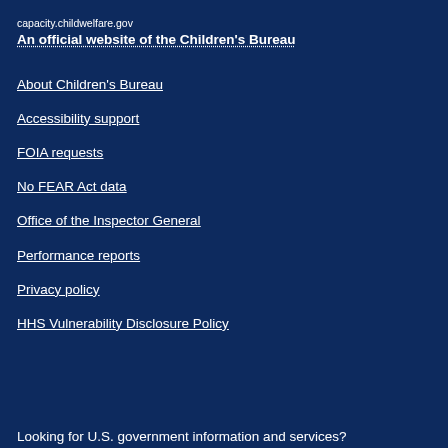capacity.childwelfare.gov
An official website of the Children's Bureau
About Children's Bureau
Accessibility support
FOIA requests
No FEAR Act data
Office of the Inspector General
Performance reports
Privacy policy
HHS Vulnerability Disclosure Policy
Looking for U.S. government information and services?